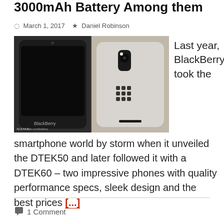3000mAh Battery Among them
March 1, 2017   Daniel Robinson
[Figure (photo): Two BlackBerry smartphones side by side: left showing front (black screen, BlackBerry logo), right showing back (silver/grey textured back with BlackBerry logo and camera). LEAKS watermark on bottom left.]
Last year, BlackBerry took the smartphone world by storm when it unveiled the DTEK50 and later followed it with a DTEK60 – two impressive phones with quality performance specs, sleek design and the best prices [...]
1 Comment